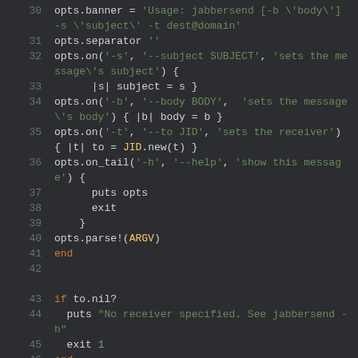[Figure (screenshot): Source code editor screenshot showing Ruby code lines 30-46 with syntax highlighting on a dark background. Code includes option parsing with opts.banner, opts.separator, opts.on, opts.on_tail, opts.parse!, and a nil check for 'to' variable.]